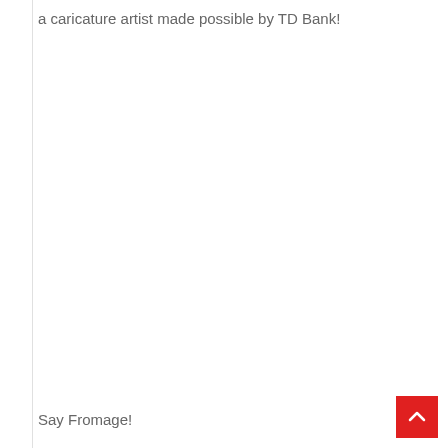a caricature artist made possible by TD Bank!
Say Fromage!